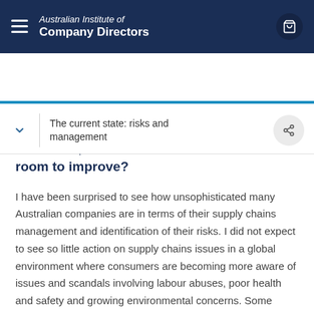Australian Institute of Company Directors
The current state: risks and management
to deal with supply chain risks? What sectors handle it the best, and which ones have the most room to improve?
I have been surprised to see how unsophisticated many Australian companies are in terms of their supply chains management and identification of their risks. I did not expect to see so little action on supply chains issues in a global environment where consumers are becoming more aware of issues and scandals involving labour abuses, poor health and safety and growing environmental concerns. Some Australian companies have good systems in place to audit their direct first tier suppliers but increasingly this is not where the risks are.